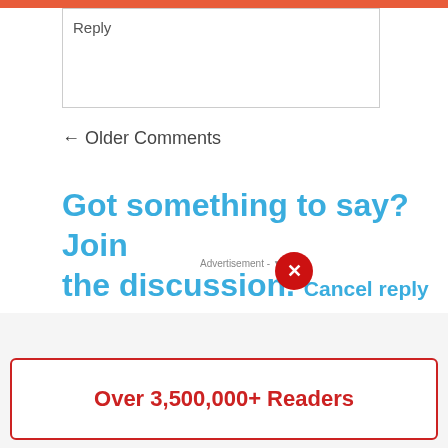Reply
← Older Comments
Got something to say? Join the discussion. Cancel reply
Advertisement - ▼ ukre
Over 3,500,000+ Readers